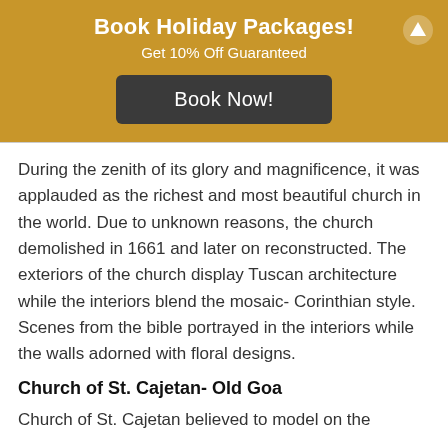Book Holiday Packages!
Get 10% Off Guaranteed
Book Now!
During the zenith of its glory and magnificence, it was applauded as the richest and most beautiful church in the world. Due to unknown reasons, the church demolished in 1661 and later on reconstructed. The exteriors of the church display Tuscan architecture while the interiors blend the mosaic- Corinthian style. Scenes from the bible portrayed in the interiors while the walls adorned with floral designs.
Church of St. Cajetan- Old Goa
Church of St. Cajetan believed to model on the